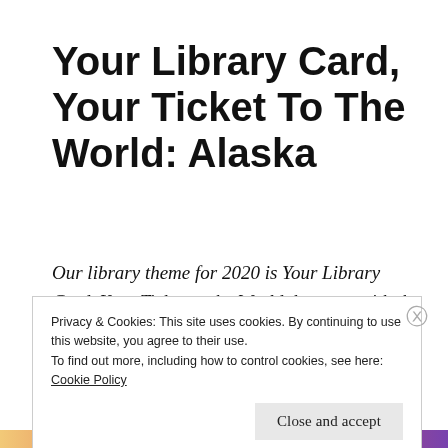Your Library Card, Your Ticket To The World: Alaska
Our library theme for 2020 is Your Library Card, Your Ticket to the World–because with the library, you truly can travel around the world without ever leaving the comfort of your own home. Every
Privacy & Cookies: This site uses cookies. By continuing to use this website, you agree to their use.
To find out more, including how to control cookies, see here:
Cookie Policy
Close and accept